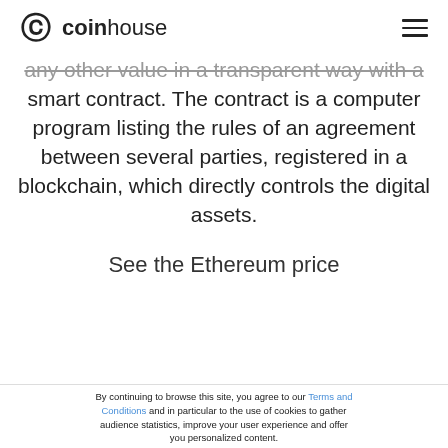coinhouse
any other value in a transparent way with a smart contract. The contract is a computer program listing the rules of an agreement between several parties, registered in a blockchain, which directly controls the digital assets.
See the Ethereum price
By continuing to browse this site, you agree to our Terms and Conditions and in particular to the use of cookies to gather audience statistics, improve your user experience and offer you personalized content. Learn more about the setting of Cookies
Cookies settings | Accept | Refuse